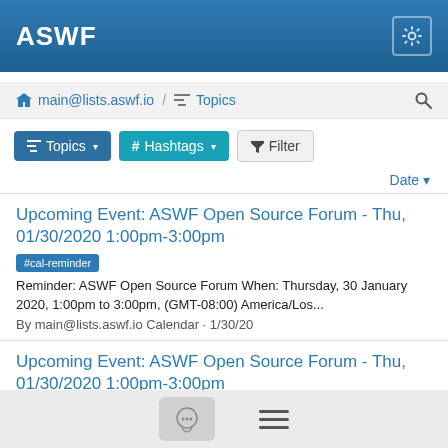ASWF
main@lists.aswf.io / Topics
Topics  # Hashtags  Filter
Date
Upcoming Event: ASWF Open Source Forum - Thu, 01/30/2020 1:00pm-3:00pm #cal-reminder
Reminder: ASWF Open Source Forum When: Thursday, 30 January 2020, 1:00pm to 3:00pm, (GMT-08:00) America/Los...
By main@lists.aswf.io Calendar · 1/30/20
Upcoming Event: ASWF Open Source Forum - Thu, 01/30/2020 1:00pm-3:00pm 2 #cal-reminder
Reminder: ASWF Open Source Forum When: Thursday, 30...